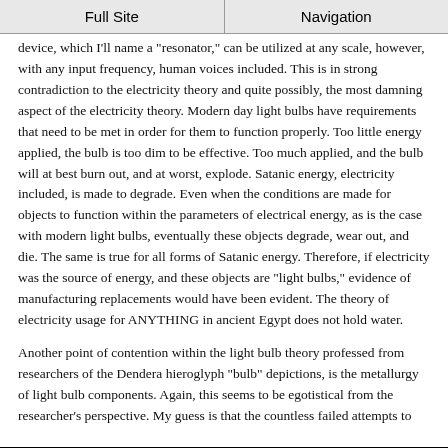Full Site | Navigation
device, which I'll name a "resonator," can be utilized at any scale, however, with any input frequency, human voices included. This is in strong contradiction to the electricity theory and quite possibly, the most damning aspect of the electricity theory. Modern day light bulbs have requirements that need to be met in order for them to function properly. Too little energy applied, the bulb is too dim to be effective. Too much applied, and the bulb will at best burn out, and at worst, explode. Satanic energy, electricity included, is made to degrade. Even when the conditions are made for objects to function within the parameters of electrical energy, as is the case with modern light bulbs, eventually these objects degrade, wear out, and die. The same is true for all forms of Satanic energy. Therefore, if electricity was the source of energy, and these objects are "light bulbs," evidence of manufacturing replacements would have been evident. The theory of electricity usage for ANYTHING in ancient Egypt does not hold water.
Another point of contention within the light bulb theory professed from researchers of the Dendera hieroglyph "bulb" depictions, is the metallurgy of light bulb components. Again, this seems to be egotistical from the researcher's perspective. My guess is that the countless failed attempts to